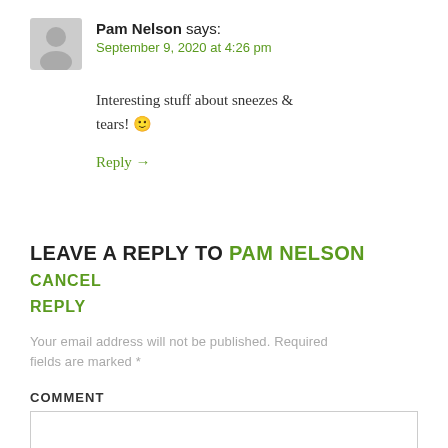Pam Nelson says: September 9, 2020 at 4:26 pm
Interesting stuff about sneezes & tears! 🙂
Reply →
LEAVE A REPLY TO PAM NELSON CANCEL REPLY
Your email address will not be published. Required fields are marked *
COMMENT